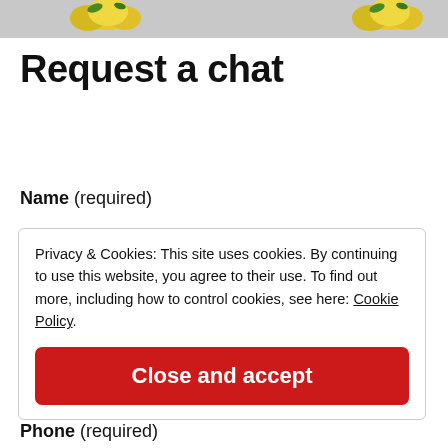[Figure (photo): Yellow lemons on a light gray background banner at the top of the page]
Request a chat
Name (required)
Privacy & Cookies: This site uses cookies. By continuing to use this website, you agree to their use. To find out more, including how to control cookies, see here: Cookie Policy
Close and accept
Phone (required)